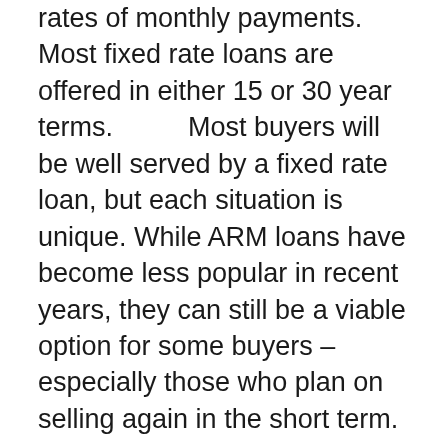rates of monthly payments. Most fixed rate loans are offered in either 15 or 30 year terms.          Most buyers will be well served by a fixed rate loan, but each situation is unique. While ARM loans have become less popular in recent years, they can still be a viable option for some buyers – especially those who plan on selling again in the short term.
Whichever loan you choose; make sure that you scrutinize all the closing costs. If you are required to have a mortgage escrow account and private mortgage insurance, make sure you understand the terms and cancellation procedures (your Real Estate Agent has publications to assist you). Also, make sure there are no prepayment penalties so that you can utilize an accelerated mortgage plan. A good mortgage reduction plan can save you tens of thousands in interest costs, and